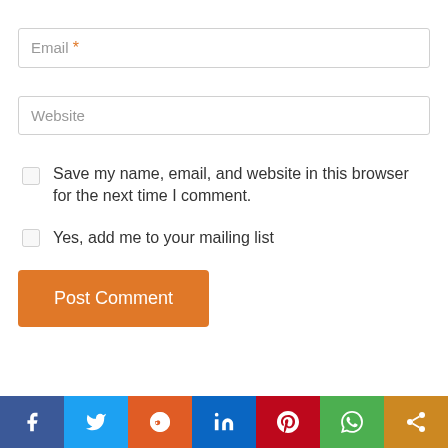Email *
Website
Save my name, email, and website in this browser for the next time I comment.
Yes, add me to your mailing list
Post Comment
[Figure (other): Social media share bar with icons for Facebook, Twitter, Reddit, LinkedIn, Pinterest, WhatsApp, and a share button]